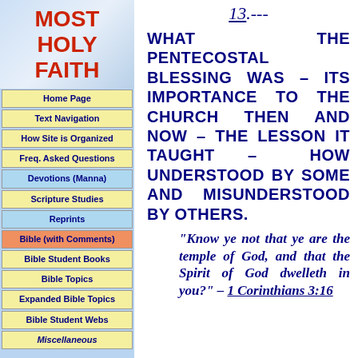[Figure (logo): MOST HOLY FAITH logo in red text on blue gradient background]
Home Page
Text Navigation
How Site is Organized
Freq. Asked Questions
Devotions (Manna)
Scripture Studies
Reprints
Bible (with Comments)
Bible Student Books
Bible Topics
Expanded Bible Topics
Bible Student Webs
Miscellaneous
13.---
WHAT THE PENTECOSTAL BLESSING WAS – ITS IMPORTANCE TO THE CHURCH THEN AND NOW – THE LESSON IT TAUGHT – HOW UNDERSTOOD BY SOME AND MISUNDERSTOOD BY OTHERS.
"Know ye not that ye are the temple of God, and that the Spirit of God dwelleth in you?" – 1 Corinthians 3:16